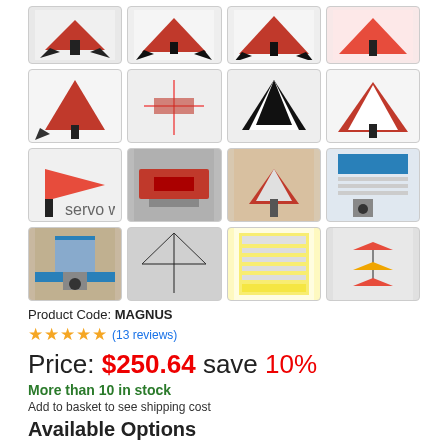[Figure (photo): Grid of 4 rows x 4 columns of thumbnail photos showing a red and black RC airplane model (Magnus) from various angles, including close-ups of wings, fuselage, electronics, and a decal sheet.]
Product Code: MAGNUS
★★★★★ (13 reviews)
Price: $250.64 save 10%
More than 10 in stock
Add to basket to see shipping cost
Available Options